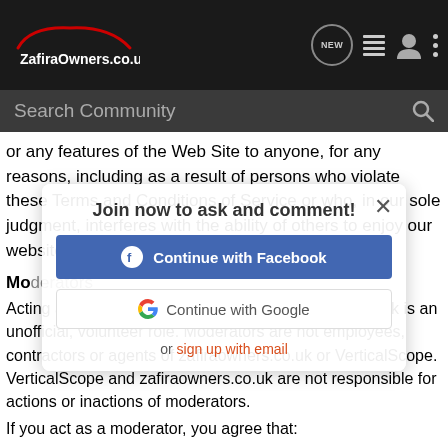ZafiraOwners.co.uk — Navigation bar with logo, NEW, list, user, and more icons
Search Community
or any features of the Web Site to anyone, for any reasons, including as a result of persons who violate these Terms and Conditions of Service or who, in our sole judgment, interferes with the ability of others to enjoy our website or infringes the rights of others.
Moderators
Join now to ask and comment!
Continue with Facebook
Continue with Google
or sign up with email
Acting as a moderator of a forum on zafiraowners.co.uk is an unofficial, volunteer role. Moderators are not employees, contractors or agents of zafiraowners.co.uk or VerticalScope. VerticalScope and zafiraowners.co.uk are not responsible for actions or inactions of moderators.
If you act as a moderator, you agree that: